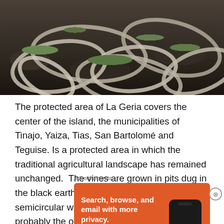[Figure (photo): Aerial view of La Geria volcanic landscape showing semicircular stone walls (zocos) arranged in curved patterns on dark volcanic soil, with green vegetation inside the enclosures.]
The protected area of La Geria covers the center of the island, the municipalities of Tinajo, Yaiza, Tias, San Bartolomé and Teguise. Is a protected area in which the traditional agricultural landscape has remained unchanged.  The vines are grown in pits dug in the black earth soil, protected from the wind by semicircular walls of volcanic rocks (zocos), probably the only ones in the world able to conserve soil
Advertisements
[Figure (screenshot): DuckDuckGo advertisement banner with orange background showing text 'Search, browse, and email with more privacy.' and 'All in One Free App' button, alongside an image of a smartphone with DuckDuckGo logo.]